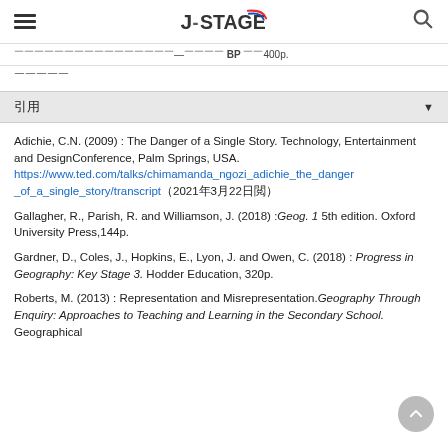J-STAGE
（日本語テキスト省略）—（略）BP （略）400p.
（日本語テキスト）
引用
Adichie, C.N. (2009) : The Danger of a Single Story. Technology, Entertainment and DesignConference, Palm Springs, USA. https://www.ted.com/talks/chimamanda_ngozi_adichie_the_danger_of_a_single_story/transcript（2021年3月22日閲）
Gallagher, R., Parish, R. and Williamson, J. (2018) :Geog. 1 5th edition. Oxford University Press,144p.
Gardner, D., Coles, J., Hopkins, E., Lyon, J. and Owen, C. (2018) : Progress in Geography: Key Stage 3. Hodder Education, 320p.
Roberts, M. (2013) : Representation and Misrepresentation.Geography Through Enquiry: Approaches to Teaching and Learning in the Secondary School. Geographical